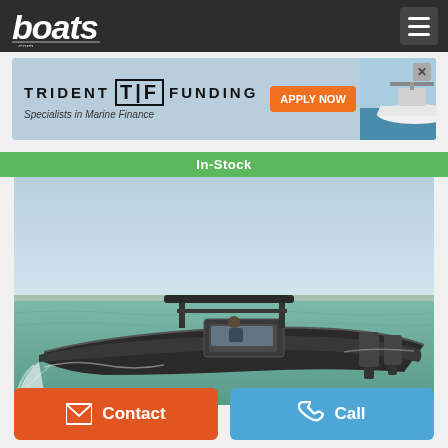boats.com
[Figure (screenshot): Trident Funding advertisement banner — 'TRIDENT TF FUNDING, Specialists in Marine Finance, APPLY NOW' with an image of a white motorboat on water]
In-Stock
[Figure (photo): A dark-colored rigid inflatable boat (RIB) with T-top canopy speeding across choppy green water, with a person seated at the helm and outboard motors at stern]
Contact
Call